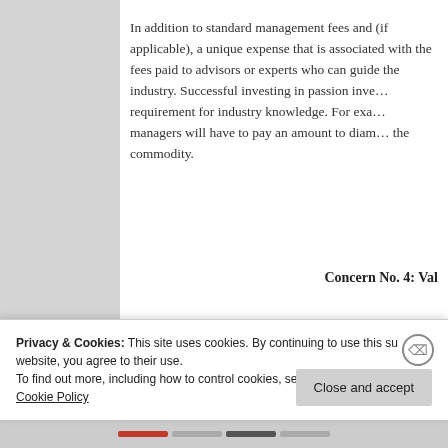In addition to standard management fees and (if applicable), a unique expense that is associated with the fees paid to advisors or experts who can guide the industry. Successful investing in passion investments requires industry knowledge. For example, managers will have to pay an amount to diamond experts the commodity.
Concern No. 4: Val
As a form of alternative assets, not all passion investments. On one hand, passion investments that
Privacy & Cookies: This site uses cookies. By continuing to use this website, you agree to their use.
To find out more, including how to control cookies, see here:
Cookie Policy